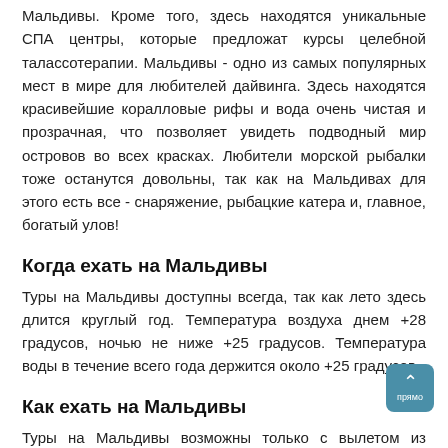Мальдивы. Кроме того, здесь находятся уникальные СПА центры, которые предложат курсы целебной талассотерапии. Мальдивы - одно из самых популярных мест в мире для любителей дайвинга. Здесь находятся красивейшие коралловые рифы и вода очень чистая и прозрачная, что позволяет увидеть подводный мир островов во всех красках. Любители морской рыбалки тоже останутся довольны, так как на Мальдивах для этого есть все - снаряжение, рыбацкие катера и, главное, богатый улов!
Когда ехать на Мальдивы
Туры на Мальдивы доступны всегда, так как лето здесь длится круглый год. Температура воздуха днем +28 градусов, ночью не ниже +25 градусов. Температура воды в течение всего года держится около +25 градусов.
Как ехать на Мальдивы
Туры на Мальдивы возможны только с вылетом из Москвы, как на чартерных, так и на регулярных рейсах. Самолеты прилетают в столицу Мальдив - Мале и приземляются на небольшую посадочную полосу, которая находится прямо в море. Вообще при подлете к аэропорту создается ощущение